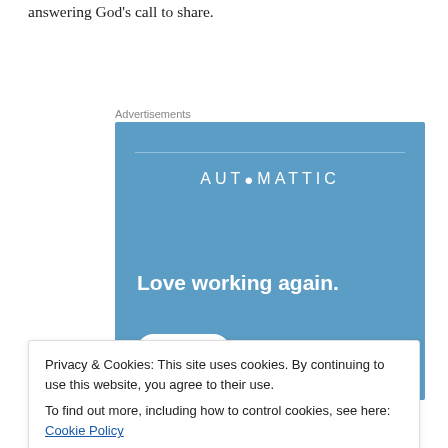answering God’s call to share.
Advertisements
[Figure (infographic): Automattic advertisement with blue background reading 'Love working again.' and an Apply button]
Privacy & Cookies: This site uses cookies. By continuing to use this website, you agree to their use.
To find out more, including how to control cookies, see here: Cookie Policy
Close and accept
called Jeremiah, Jeremiah responded by saying, “Ah, Lord God!